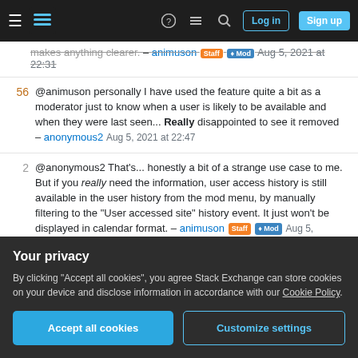Stack Exchange navigation bar with Log in and Sign up buttons
makes anything clearer. – animuson Staff Mod Aug 5, 2021 at 22:31
56 @animuson personally I have used the feature quite a bit as a moderator just to know when a user is likely to be available and when they were last seen... Really disappointed to see it removed – anonymous2 Aug 5, 2021 at 22:47
2 @anonymous2 That's... honestly a bit of a strange use case to me. But if you really need the information, user access history is still available in the user history from the mod menu, by manually filtering to the "User accessed site" history event. It just won't be displayed in calendar format. – animuson Staff Mod Aug 5,
Your privacy
By clicking "Accept all cookies", you agree Stack Exchange can store cookies on your device and disclose information in accordance with our Cookie Policy.
Accept all cookies   Customize settings